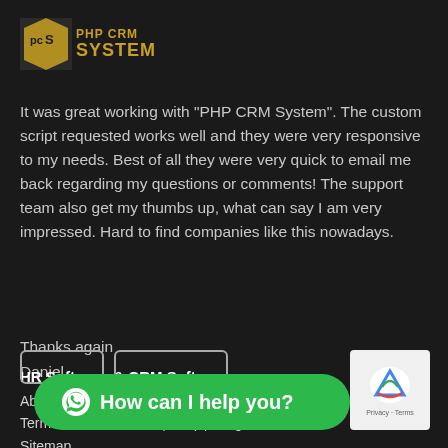[Figure (logo): PHP CRM System logo with golden text on dark background]
It was great working with "PHP CRM System". The custom script requested works well and they were very responsive to my needs. Best of all they were very quick to email me back regarding my questions or comments! The support team also get my thumbs up, what can say I am very impressed. Hard to find companies like this nowadays.
Thanks again
Daniel
About Us | Partner With US | Contact US | Privacy Policy | Terms and Conditions | Faq | Blog
Sitemap
HR Software & CRM Software
[Figure (screenshot): Green WhatsApp chat button with text 'How can I help you?' and reCAPTCHA badge]